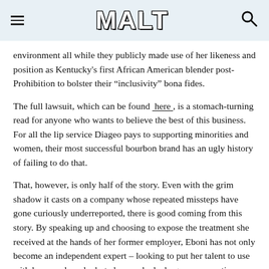MALT
environment all while they publicly made use of her likeness and position as Kentucky's first African American blender post-Prohibition to bolster their “Inclusivity” bona fides.
The full lawsuit, which can be found here, is a stomach-turning read for anyone who wants to believe the best of this business. For all the lip service Diageo pays to supporting minorities and women, their most successful bourbon brand has an ugly history of failing to do that.
That, however, is only half of the story. Even with the grim shadow it casts on a company whose repeated missteps have gone curiously underreported, there is good coming from this story. By speaking up and choosing to expose the treatment she received at the hands of her former employer, Eboni has not only become an independent expert – looking to put her talent to use with her own brand – but also sparked a larger conversation about bourbon’s checkered history when it comes to its treatment of minorities.